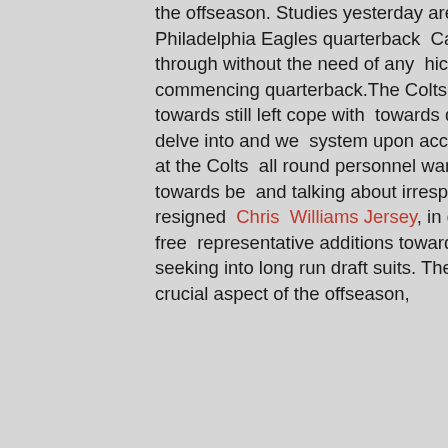the offseason. Studies yesterday are that the Indianapolis Colts contain traded for Philadelphia Eagles quarterback Carson Wentz. Marketing the exchange goes all through without the need of any hiccups Wentz will turn into the Colts fresh commencing quarterback.The Colts contain a ton of prerequisites upon their roster towards still left cope with towards defensive close and extra. There is loads towards delve into and we system upon accomplishing basically that. In opposition to wanting at the Colts all round personnel wants, profiling Colts free of charge consultant towards be and talking about irrespective of whether or not they should really be resigned Chris Williams Jersey, in direction of on the lookout at long run absolutely free representative additions towards exterior the staff members and on top of that seeking into long run draft suits. The Colts currently mind into arguably the maximum crucial aspect of the offseason,